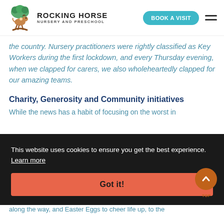ROCKING HORSE NURSERY AND PRESCHOOL | BOOK A VISIT
the country. Nursery practitioners were rightly classified as Key Workers during the first lockdown, and every Thursday evening, when we clapped for carers, we also wholeheartedly clapped for our amazing teams.
Charity, Generosity and Community initiatives
While the news has a habit of focusing on the worst in
This website uses cookies to ensure you get the best experience. Learn more
Got it!
children and staff at Little Pickles to enjoy, to members for along the way, and Easter Eggs to cheer life up, to the